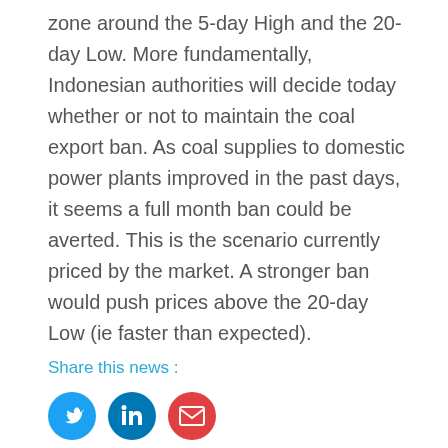zone around the 5-day High and the 20-day Low. More fundamentally, Indonesian authorities will decide today whether or not to maintain the coal export ban. As coal supplies to domestic power plants improved in the past days, it seems a full month ban could be averted. This is the scenario currently priced by the market. A stronger ban would push prices above the 20-day Low (ie faster than expected).
Share this news :
[Figure (other): Three social media share buttons: Twitter (blue circle with bird icon), LinkedIn (dark blue circle with 'in' icon), Email (red circle with envelope icon)]